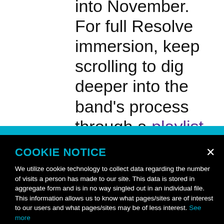into November. For full Resolve immersion, keep scrolling to dig deeper into the band's process through a playlist featuring some of the music
COOKIE NOTICE
We utilize cookie technology to collect data regarding the number of visits a person has made to our site. This data is stored in aggregate form and is in no way singled out in an individual file. This information allows us to know what pages/sites are of interest to our users and what pages/sites may be of less interest. See more